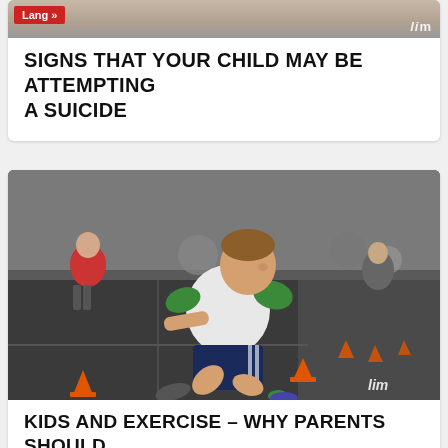[Figure (photo): Top portion of a photo partially visible, showing a person, with a red 'Lang »' button overlay and 'lim' watermark]
SIGNS THAT YOUR CHILD MAY BE ATTEMPTING A SUICIDE
[Figure (photo): A young boy in a green and white raglan shirt doing an athletic drill in a gym, crouching near orange cones with other children visible in the background. A 'lim' watermark appears bottom right.]
KIDS AND EXERCISE – WHY PARENTS SHOULD